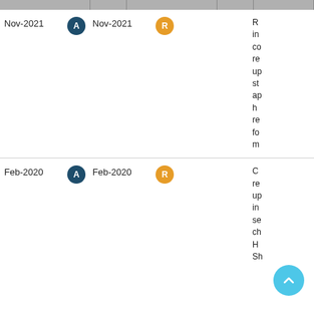| Date (col1) | A | Date (col2) | R |  | Description |
| --- | --- | --- | --- | --- | --- |
| Nov-2021 | A | Nov-2021 | R |  | R in co re up st ap h re fo m |
| Feb-2020 | A | Feb-2020 | R |  | C re up in se ch H Sh |